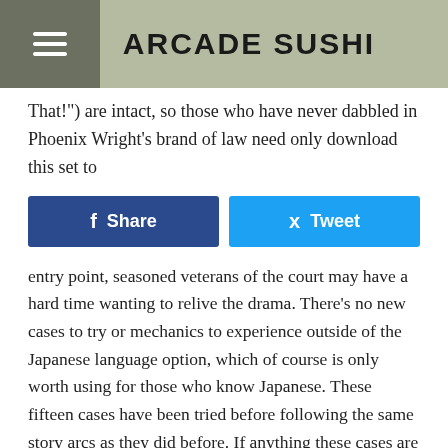ARCADE SUSHI
That!") are intact, so those who have never dabbled in Phoenix Wright's brand of law need only download this set to
[Figure (other): Share and Tweet social media buttons — Facebook Share button (dark blue) and Twitter Tweet button (light blue)]
entry point, seasoned veterans of the court may have a hard time wanting to relive the drama. There's no new cases to try or mechanics to experience outside of the Japanese language option, which of course is only worth using for those who know Japanese. These fifteen cases have been tried before following the same story arcs as they did before. If anything these cases are made easier by not having to present as much evidence during a trial.
I had noticed during one trial in the first game that after I